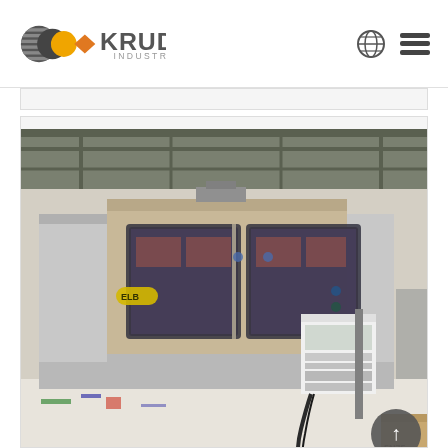KRUDO INDUSTRIAL
[Figure (photo): Industrial CNC grinding machine (ELB brand) in a large workshop/warehouse setting. The machine is white and tan/beige colored with two viewing windows and an attached control panel on the right side. The machine sits on a flat surface inside an industrial building with steel roof structure visible.]